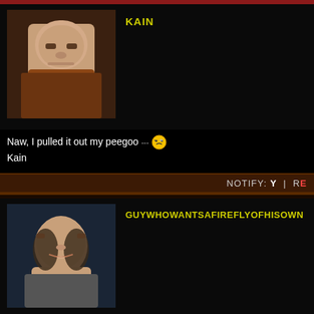KAIN
[Figure (photo): Profile photo of a young man in a plaid shirt, dark background]
Naw, I pulled it out my peegoo [emoji] Kain
NOTIFY: Y | R
GUYWHOWANTSAFIREFLYOFHISOWN
[Figure (photo): Profile photo of a young woman smiling, dark background]
would you like to know?
http://www.albinoblacksheep.com/flash/llama.php
-try it out, I dare you